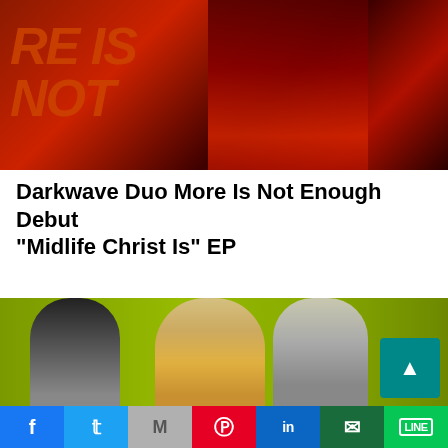[Figure (photo): Dark reddish-toned album art or band photo with figures in red clothing against a dark background with orange/red text overlay reading partial letters]
Darkwave Duo More Is Not Enough Debut “Midlife Christ Is” EP
[Figure (photo): Three women posed against a lime green background. Left: dark long hair, dark makeup. Center: blonde hair, yellow striped outfit. Right: blonde bob cut, teal background element with play button badge in corner.]
Facebook | Twitter | Gmail | Pinterest | LinkedIn | WhatsApp | LINE